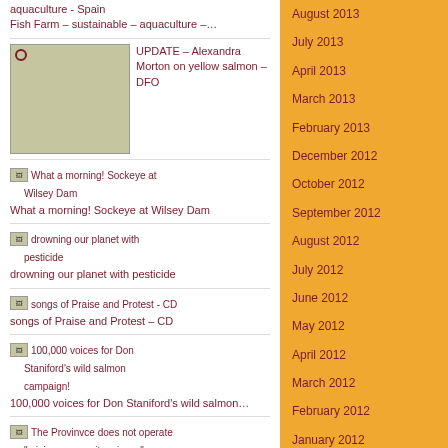aquaculture - Spain
Fish Farm – sustainable – aquaculture –…
UPDATE – Alexandra Morton on yellow salmon – DFO
What a morning! Sockeye at Wilsey Dam
drowning our planet with pesticide
songs of Praise and Protest – CD
100,000 voices for Don Staniford's wild salmon…
The Provinvce does not operate "minimum security…
August 2013
July 2013
April 2013
March 2013
February 2013
December 2012
October 2012
September 2012
August 2012
July 2012
June 2012
May 2012
April 2012
March 2012
February 2012
January 2012